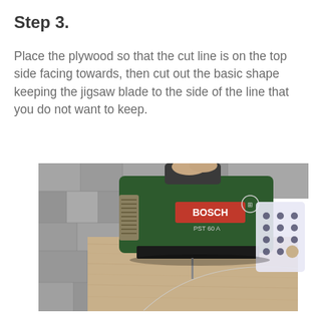Step 3.
Place the plywood so that the cut line is on the top side facing towards, then cut out the basic shape keeping the jigsaw blade to the side of the line that you do not want to keep.
[Figure (photo): Close-up photograph of a Bosch PST 60 A jigsaw cutting along a curved pencil line on a piece of plywood, viewed from above on a paved surface background.]